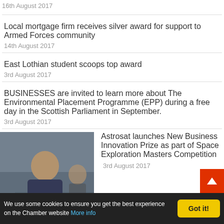16th August 2017
Local mortgage firm receives silver award for support to Armed Forces community
14th August 2017
East Lothian student scoops top award
3rd August 2017
BUSINESSES are invited to learn more about The Environmental Placement Programme (EPP) during a free day in the Scottish Parliament in September.
3rd August 2017
[Figure (photo): Photo of a man in a meeting room setting]
Astrosat launches New Business Innovation Prize as part of Space Exploration Masters Competition
3rd August 2017
We use some cookies to ensure you get the best experience on the Chamber website More info  Got it!